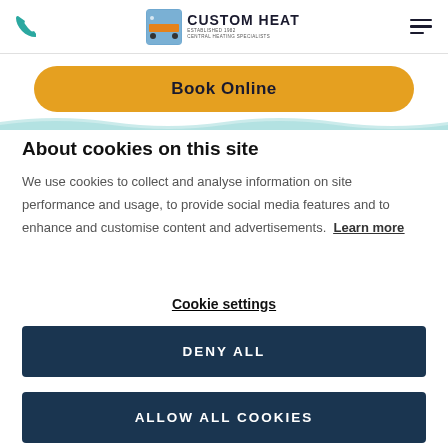[Figure (logo): Custom Heat central heating specialists logo with phone icon and hamburger menu]
Book Online
About cookies on this site
We use cookies to collect and analyse information on site performance and usage, to provide social media features and to enhance and customise content and advertisements. Learn more
Cookie settings
DENY ALL
ALLOW ALL COOKIES